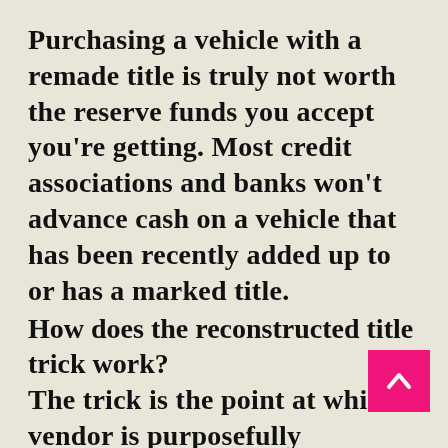Purchasing a vehicle with a remade title is truly not worth the reserve funds you accept you're getting. Most credit associations and banks won't advance cash on a vehicle that has been recently added up to or has a marked title.
How does the reconstructed title trick work?
The trick is the point at which a vendor is purposefully attempting to sell you a vehicle they're mindful has been recently harmed by flood, fire